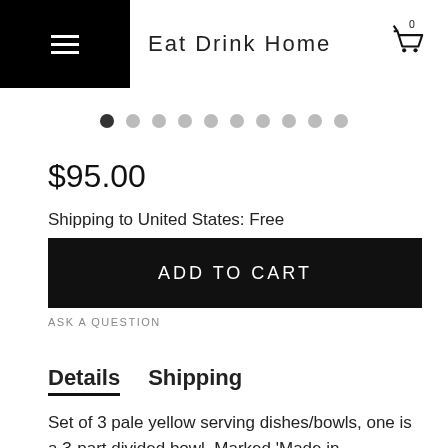Eat Drink Home
[Figure (other): Carousel dot indicators, 10 dots, first dot active]
$95.00
Shipping to United States: Free
ADD TO CART
ASK A QUESTION
Details   Shipping
Set of 3 pale yellow serving dishes/bowls, one is a 3-part divided bowl. Marked 'Made in